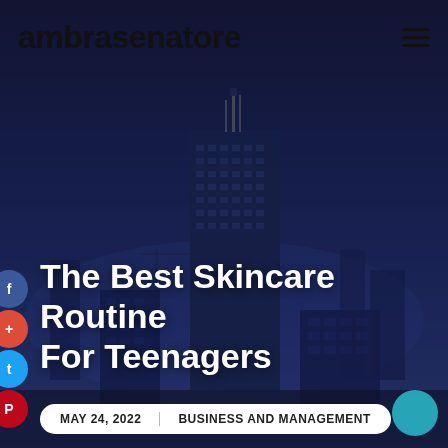ambrasenatore
[Figure (photo): City skyline at dusk with tall skyscrapers against a dark blue/purple gradient sky. Multiple buildings with grid windows visible. Social media share icons on the left side.]
The Best Skincare Routine For Teenagers
MAY 24, 2022   BUSINESS AND MANAGEMENT